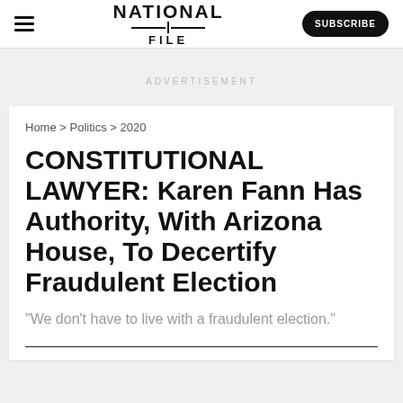NATIONAL FILE — SUBSCRIBE
ADVERTISEMENT
Home > Politics > 2020
CONSTITUTIONAL LAWYER: Karen Fann Has Authority, With Arizona House, To Decertify Fraudulent Election
"We don't have to live with a fraudulent election."